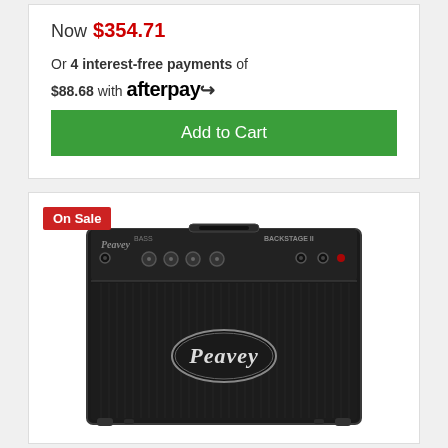Now  $354.71
Or 4 interest-free payments of $88.68 with afterpay
Add to Cart
On Sale
[Figure (photo): Peavey Backstage bass guitar amplifier combo, black tolex covering with black grille cloth and Peavey logo badge, control panel on top with knobs and input jacks]